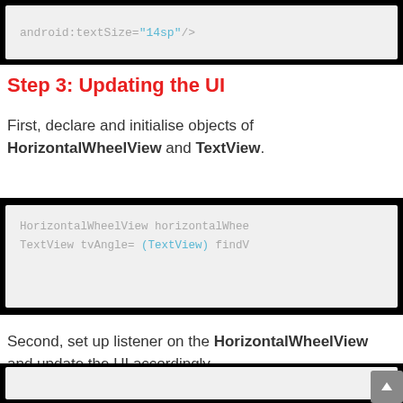[Figure (screenshot): Code block showing: android:textSize="14sp" />]
Step 3: Updating the UI
First, declare and initialise objects of HorizontalWheelView and TextView.
[Figure (screenshot): Code block showing: HorizontalWheelView horizontalWhee... TextView tvAngle= (TextView) findV...]
Second, set up listener on the HorizontalWheelView and update the UI accordingly.
[Figure (screenshot): Partially visible code block at bottom]